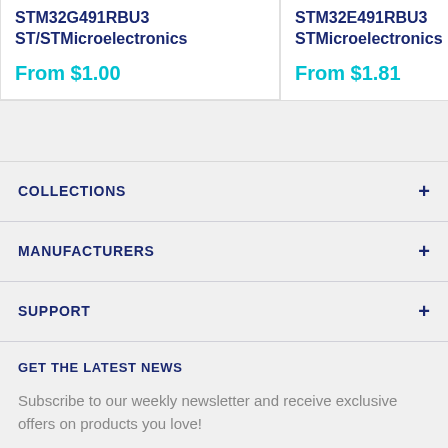STM32G491RBU3
ST/STMicroelectronics
From $1.00
STM32E491RBU3
STMicroelectronics
From $1.81
COLLECTIONS
MANUFACTURERS
SUPPORT
GET THE LATEST NEWS
Subscribe to our weekly newsletter and receive exclusive offers on products you love!